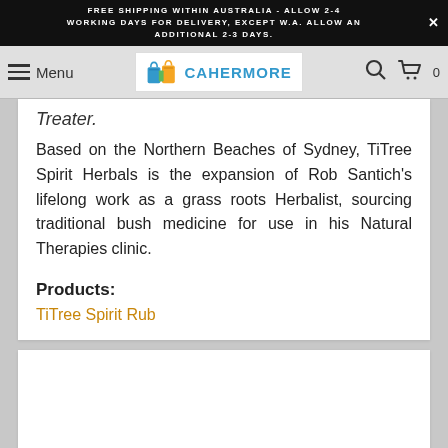FREE SHIPPING WITHIN AUSTRALIA - ALLOW 2-4 WORKING DAYS FOR DELIVERY, EXCEPT W.A. ALLOW AN ADDITIONAL 2-3 DAYS.
[Figure (logo): Cahermore logo with shopping bags icon and teal text]
Treater.
Based on the Northern Beaches of Sydney, TiTree Spirit Herbals is the expansion of Rob Santich's lifelong work as a grass roots Herbalist, sourcing traditional bush medicine for use in his Natural Therapies clinic.
Products:
TiTree Spirit Rub